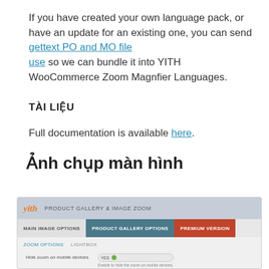If you have created your own language pack, or have an update for an existing one, you can send gettext PO and MO file use so we can bundle it into YITH WooCommerce Zoom Magnfier Languages.
TÀI LIỆU
Full documentation is available here.
Ảnh chụp màn hình
[Figure (screenshot): Screenshot of YITH Product Gallery & Image Zoom plugin settings panel showing tabs: MAIN IMAGE OPTIONS, PRODUCT GALLERY OPTIONS (active), PREMIUM VERSION, with sub-tabs ZOOM OPTIONS and LIGHTBOX, and a setting 'Hide zoom on mobile devices' set to YES (green toggle).]